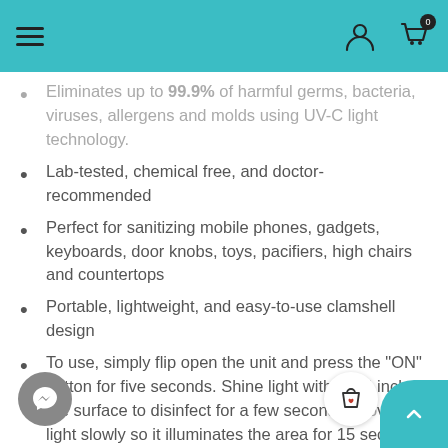Navigation header with hamburger menu and cart/user icons
Eliminates up to 99.9% of harmful germs, bacteria, viruses, allergens and molds using UV-C light technology.
Lab-tested, chemical free, and doctor-recommended
Perfect for sanitizing mobile phones, gadgets, keyboards, door knobs, toys, pacifiers, high chairs and countertops
Portable, lightweight, and easy-to-use clamshell design
To use, simply flip open the unit and press the "ON" button for five seconds. Shine light within 1/4 inch of the surface to disinfect for a few seconds. Move the light slowly so it illuminates the area for 15 seconds (however, the longer the exposure the better) before moving the lamp to the next